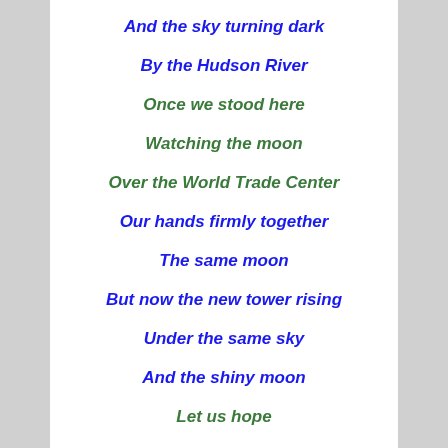And the sky turning dark
By the Hudson River
Once we stood here
Watching the moon
Over the World Trade Center
Our hands firmly together
The same moon
But now the new tower rising
Under the same sky
And the shiny moon
Let us hope